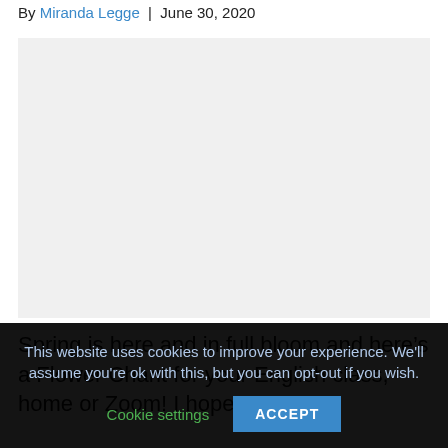By Miranda Legge | June 30, 2020
[Figure (photo): Image placeholder area, likely a flower or spring-related image]
Spring is here and in full bloom and here’s a Flower Chant for your English class, home or Zoom! I hope
This website uses cookies to improve your experience. We’ll assume you’re ok with this, but you can opt-out if you wish. Cookie settings ACCEPT